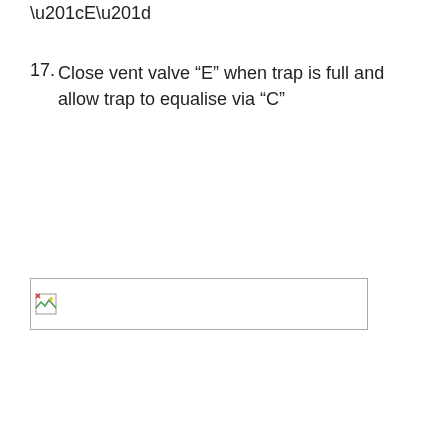“E”
17. Close vent valve “E” when trap is full and allow trap to equalise via “C”
[Figure (other): Broken image placeholder box]